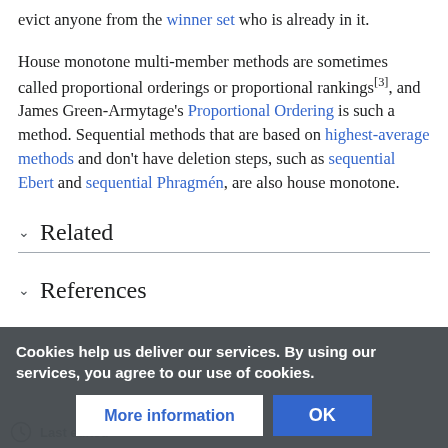evict anyone from the winner set who is already in it.
House monotone multi-member methods are sometimes called proportional orderings or proportional rankings[3], and James Green-Armytage's Proportional Ordering is such a method. Sequential methods that are based on highest-average methods and don't have deletion steps, such as sequential Ebert and sequential Phragmén, are also house monotone.
Related
References
Cookies help us deliver our services. By using our services, you agree to our use of cookies.
Last edited